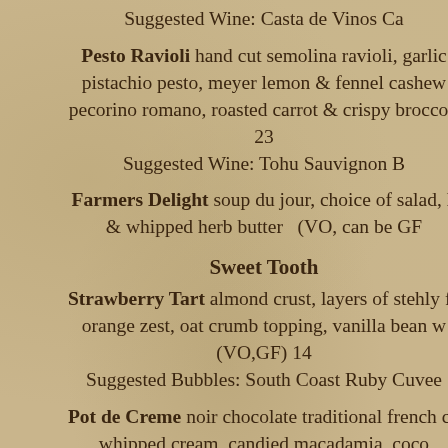Suggested Wine: Casta de Vinos Ca
Pesto Ravioli hand cut semolina ravioli, garlic pistachio pesto, meyer lemon & fennel cashew pecorino romano, roasted carrot & crispy broccoli 23 Suggested Wine: Tohu Sauvignon B
Farmers Delight soup du jour, choice of salad, h & whipped herb butter (VO, can be GF
Sweet Tooth
Strawberry Tart almond crust, layers of stehly fa orange zest, oat crumb topping, vanilla bean w (VO,GF) 14 Suggested Bubbles: South Coast Ruby Cuvee
Pot de Creme noir chocolate traditional french cu whipped cream, candied macadamia, coco Suggested Dessert Wine: Edwards Censo
Strawberry Angel Cake orange zest cake, blo macerated strawberries, whipped crea